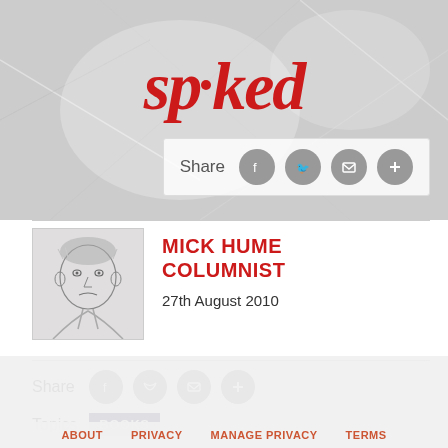[Figure (logo): Spiked magazine logo in red italic serif font with a small dot above the letter i]
[Figure (infographic): Share buttons row in hero area with label 'Share' and four circular grey icon buttons for Facebook, Twitter, email, and plus]
[Figure (illustration): Pencil sketch portrait illustration of Mick Hume]
MICK HUME
COLUMNIST
27th August 2010
[Figure (infographic): Share buttons row with label 'Share' and four circular grey icon buttons for Facebook, Twitter, email, and plus]
Topics  BOOKS
How did Matthew Syed, a boy from an ordinary
ABOUT   PRIVACY   MANAGE PRIVACY   TERMS